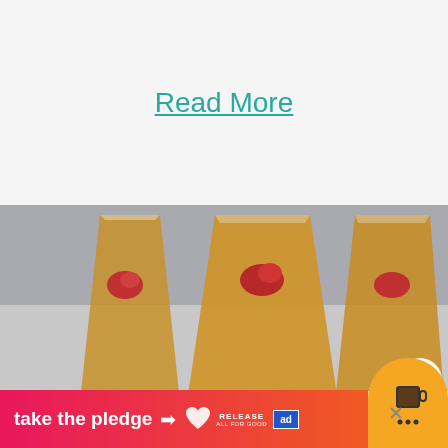Read More
[Figure (photo): Three champagne flute glasses filled with orange/amber colored drinks garnished with strawberries, pink tulips in the foreground, gray background]
WHAT'S NEXT → 60+ EASY Rock Paintin...
take the pledge → RELEASE ALL FOR GOOD ad